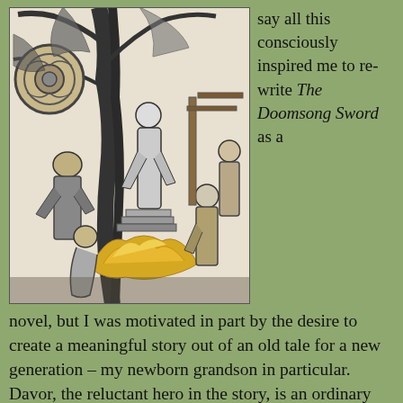[Figure (illustration): Black and white pen-and-ink illustration depicting a dramatic Norse/fantasy scene with multiple figures around a large tree. A robed figure stands elevated near wooden steps, while armored warriors and other characters surround a fire or altar below. A round shield with Celtic-style knotwork is visible on the left side.]
say all this consciously inspired me to re-write The Doomsong Sword as a novel, but I was motivated in part by the desire to create a meaningful story out of an old tale for a new generation – my newborn grandson in particular. Davor, the reluctant hero in the story, is an ordinary boy in an extra-ordinary situation, the kind a boy concerns himself
novel, but I was motivated in part by the desire to create a meaningful story out of an old tale for a new generation – my newborn grandson in particular. Davor, the reluctant hero in the story, is an ordinary boy in an extra-ordinary